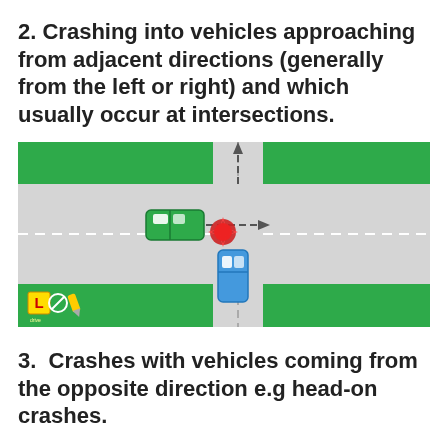2. Crashing into vehicles approaching from adjacent directions (generally from the left or right) and which usually occur at intersections.
[Figure (illustration): Diagram of a road intersection showing a T-bone/side collision scenario. A horizontal road intersects a vertical road. Green road sections appear on left and right of the horizontal road at top and bottom. A green car is traveling right along the horizontal road. A blue car is traveling upward along the vertical road. A red explosion/crash symbol appears at the intersection point. A dashed arrow points right showing direction of travel for the green car, and a dashed arrow points up showing direction of travel for the blue car. Bottom left shows L-plate and other icons on a green background.]
3.  Crashes with vehicles coming from the opposite direction e.g head-on crashes.